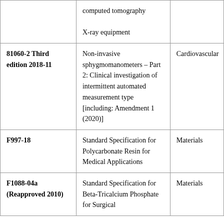|  | computed tomography
X-ray equipment |  |
| 81060-2 Third edition 2018-11 | Non-invasive sphygmomanometers – Part 2: Clinical investigation of intermittent automated measurement type [including: Amendment 1 (2020)] | Cardiovascular |
| F997-18 | Standard Specification for Polycarbonate Resin for Medical Applications | Materials |
| F1088-04a (Reapproved 2010) | Standard Specification for Beta-Tricalcium Phosphate for Surgical | Materials |